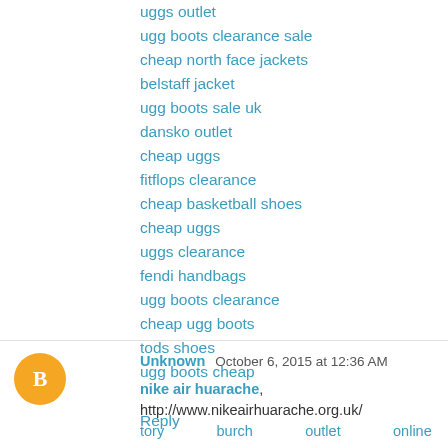uggs outlet
ugg boots clearance sale
cheap north face jackets
belstaff jacket
ugg boots sale uk
dansko outlet
cheap uggs
fitflops clearance
cheap basketball shoes
cheap uggs
uggs clearance
fendi handbags
ugg boots clearance
cheap ugg boots
tods shoes
ugg boots cheap
Reply
Unknown  October 6, 2015 at 12:36 AM
nike air huarache, http://www.nikeairhuarache.org.uk/ tory burch outlet online